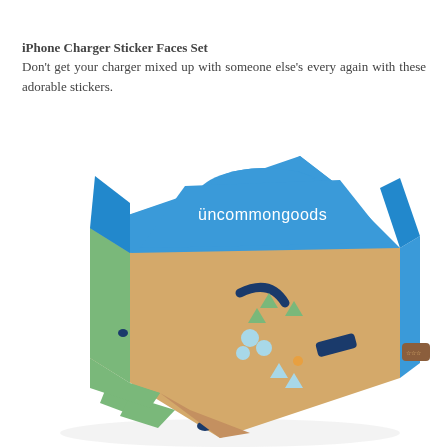iPhone Charger Sticker Faces Set
Don't get your charger mixed up with someone else's every again with these adorable stickers.
[Figure (photo): A wooden pinball machine toy branded with 'uncommongoods' in white text on a blue backboard. The playfield is tan/beige wood with blue, green, and light blue decorative pieces. The machine is shown at an angle.]